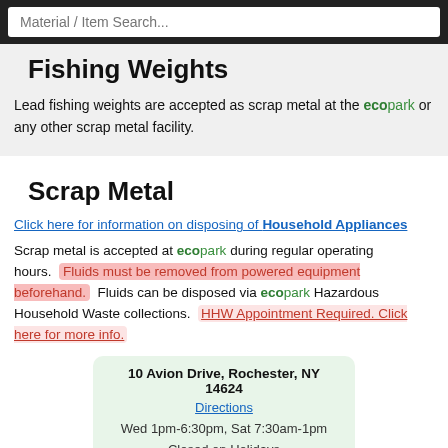Material / Item Search...
Fishing Weights
Lead fishing weights are accepted as scrap metal at the ecopark or any other scrap metal facility.
Scrap Metal
Click here for information on disposing of Household Appliances
Scrap metal is accepted at ecopark during regular operating hours. Fluids must be removed from powered equipment beforehand. Fluids can be disposed via ecopark Hazardous Household Waste collections. HHW Appointment Required. Click here for more info.
10 Avion Drive, Rochester, NY 14624
Directions
Wed 1pm-6:30pm, Sat 7:30am-1pm
Closed on Holidays
Metal Scrap Yards/Recycling Facilities